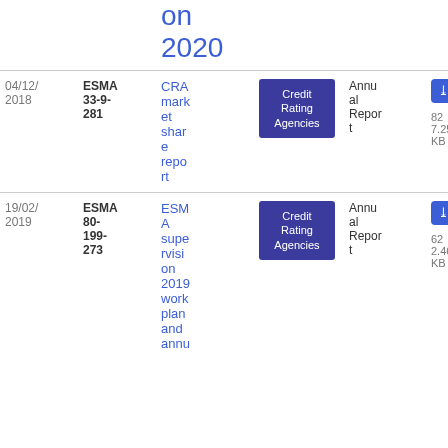| Date | Reference | Title | Category | Type | Download |
| --- | --- | --- | --- | --- | --- |
| on 2020 |  |  |  |  |  |
| 04/12/2018 | ESMA 33-9-281 | CRA market share report | Credit Rating Agencies | Annual Report | PDF 827.25 KB |
| 19/02/2019 | ESMA 80-199-273 | ESMA supervision 2019 work plan and annu | Credit Rating Agencies | Annual Report | PDF 622.46 KB |